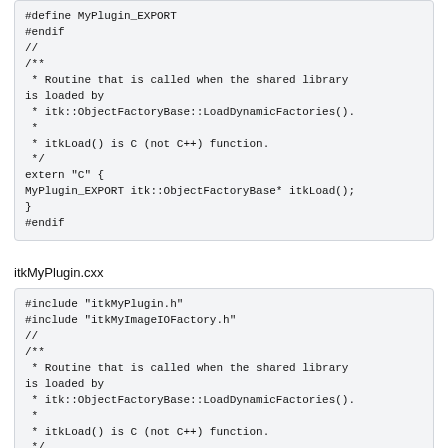#define MyPlugin_EXPORT
#endif
//
/**
 * Routine that is called when the shared library is loaded by
 * itk::ObjectFactoryBase::LoadDynamicFactories().
 *
 * itkLoad() is C (not C++) function.
 */
extern "C" {
MyPlugin_EXPORT itk::ObjectFactoryBase* itkLoad();
}
#endif
itkMyPlugin.cxx
#include "itkMyPlugin.h"
#include "itkMyImageIOFactory.h"
//
/**
 * Routine that is called when the shared library is loaded by
 * itk::ObjectFactoryBase::LoadDynamicFactories().
 *
 * itkLoad() is C (not C++) function.
 */
itk::ObjectFactoryBase* itkLoad()
{
  static itk::MyImageIOFactory::Pointer f =
itk::MyImageIOFactory::New();